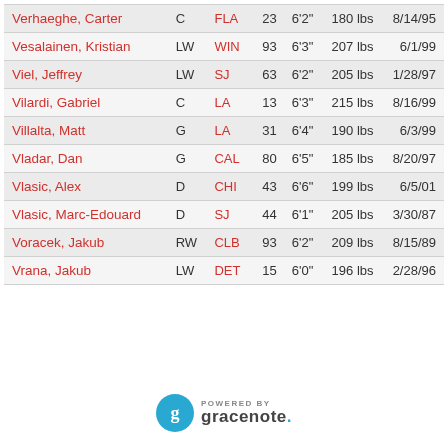| Name | Pos | Team | # | Ht | Wt | DOB |
| --- | --- | --- | --- | --- | --- | --- |
| Verhaeghe, Carter | C | FLA | 23 | 6'2" | 180 lbs | 8/14/95 |
| Vesalainen, Kristian | LW | WIN | 93 | 6'3" | 207 lbs | 6/1/99 |
| Viel, Jeffrey | LW | SJ | 63 | 6'2" | 205 lbs | 1/28/97 |
| Vilardi, Gabriel | C | LA | 13 | 6'3" | 215 lbs | 8/16/99 |
| Villalta, Matt | G | LA | 31 | 6'4" | 190 lbs | 6/3/99 |
| Vladar, Dan | G | CAL | 80 | 6'5" | 185 lbs | 8/20/97 |
| Vlasic, Alex | D | CHI | 43 | 6'6" | 199 lbs | 6/5/01 |
| Vlasic, Marc-Edouard | D | SJ | 44 | 6'1" | 205 lbs | 3/30/87 |
| Voracek, Jakub | RW | CLB | 93 | 6'2" | 209 lbs | 8/15/89 |
| Vrana, Jakub | LW | DET | 15 | 6'0" | 196 lbs | 2/28/96 |
[Figure (logo): Gracenote logo - teal circle with stylized g, text POWERED BY gracenote.]